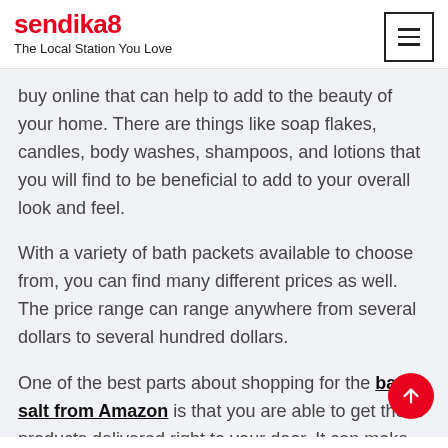sendika8 — The Local Station You Love
buy online that can help to add to the beauty of your home. There are things like soap flakes, candles, body washes, shampoos, and lotions that you will find to be beneficial to add to your overall look and feel.
With a variety of bath packets available to choose from, you can find many different prices as well. The price range can range anywhere from several dollars to several hundred dollars.
One of the best parts about shopping for the bath salt from Amazon is that you are able to get these products delivered right to your door. It can make life much easier for you, especially if you live in an area where you do not have access to stores.